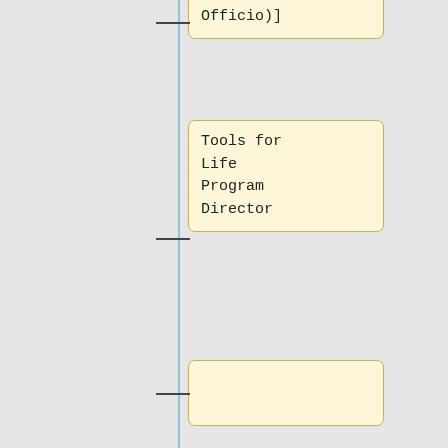(Ex-
Officio)]
Tools for
Life
Program
Director
[mailto:joy.kniskern@gatfl.gatech.edu Joy Kniskern (Ex-Officio)]
Assistive
Technology
Initiatives
PI